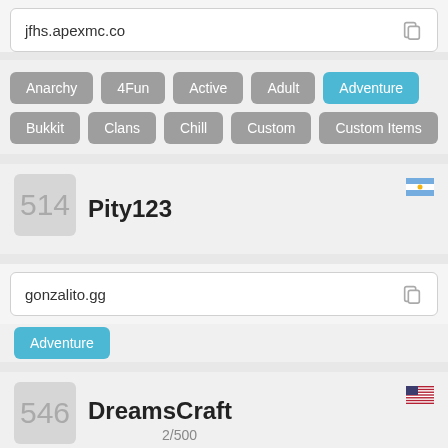jfhs.apexmc.co
Anarchy
4Fun
Active
Adult
Adventure
Bukkit
Clans
Chill
Custom
Custom Items
Pity123
514
gonzalito.gg
Adventure
DreamsCraft
546
2/500
play.dreamscraft.net